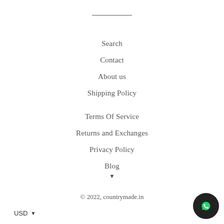Search
Contact
About us
Shipping Policy
Terms Of Service
Returns and Exchanges
Privacy Policy
Blog
© 2022, countrymade.in
USD ▼
[Figure (logo): WhatsApp chat button icon, dark circular background with white phone/speech bubble icon]